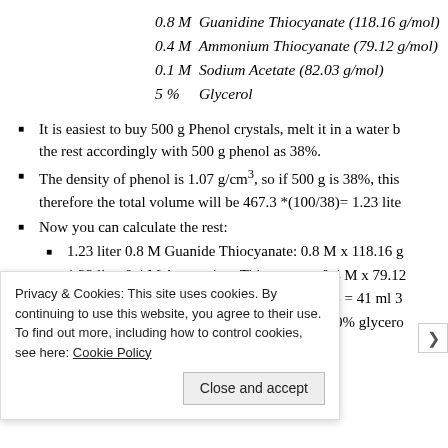0.8 M  Guanidine Thiocyanate (118.16 g/mol)
0.4 M  Ammonium Thiocyanate (79.12 g/mol)
0.1 M  Sodium Acetate (82.03 g/mol)
5 %     Glycerol
It is easiest to buy 500 g Phenol crystals, melt it in a water b… the rest accordingly with 500 g phenol as 38%.
The density of phenol is 1.07 g/cm³, so if 500 g is 38%, this… therefore the total volume will be 467.3 *(100/38)= 1.23 lite…
Now you can calculate the rest:
1.23 liter 0.8 M Guanide Thiocyanate: 0.8 M x 118.16 g…
1.23 liter 0.4 M Ammonium Thiocyanate: 0.4 M x 79.12…
1.23 liter 0.1 M Sodium Acetate:1.23 x 0.1)/3 = 41 ml 3…
1.23 liter 5% Glycerol: 1.23/20 = 61.5 ml 100% glycero…
Privacy & Cookies: This site uses cookies. By continuing to use this website, you agree to their use.
To find out more, including how to control cookies, see here: Cookie Policy
Close and accept